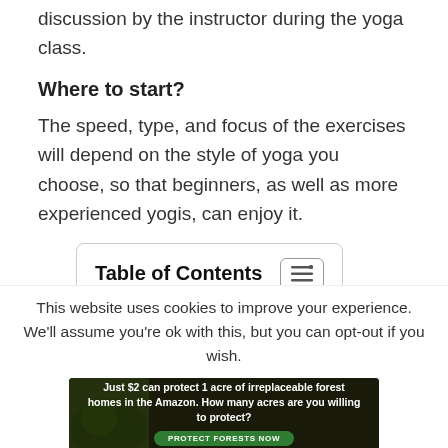discussion by the instructor during the yoga class.
Where to start?
The speed, type, and focus of the exercises will depend on the style of yoga you choose, so that beginners, as well as more experienced yogis, can enjoy it.
Table of Contents
There are several types of
This website uses cookies to improve your experience. We'll assume you're ok with this, but you can opt-out if you wish.
[Figure (infographic): Amazon forest protection advertisement banner: 'Just $2 can protect 1 acre of irreplaceable forest homes in the Amazon. How many acres are you willing to protect?' with a green 'PROTECT FORESTS NOW' button, dark nature background.]